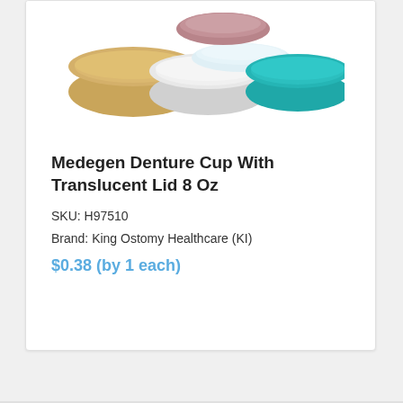[Figure (photo): Product photo showing multiple denture cups in various colors (tan/gold, white, light blue/translucent) with lids, arranged side by side on a white background.]
Medegen Denture Cup With Translucent Lid 8 Oz
SKU: H97510
Brand: King Ostomy Healthcare (KI)
$0.38 (by 1 each)